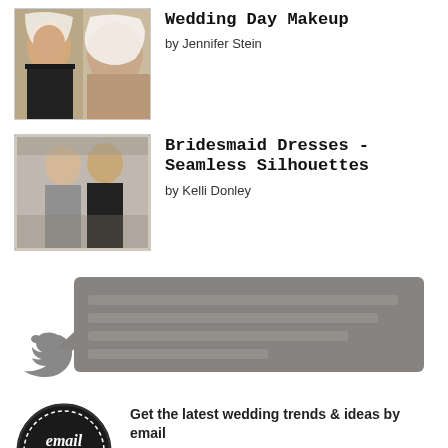[Figure (photo): Thumbnail photo of a woman with dark hair and a white veil, smiling, for Wedding Day Makeup article]
Wedding Day Makeup
by Jennifer Stein
[Figure (photo): Thumbnail photo of two women in bridesmaid dresses, one in grey and one in black, for Bridesmaid Dresses article]
Bridesmaid Dresses - Seamless Silhouettes
by Kelli Donley
[Figure (illustration): Twitter bird icon with a grey speech bubble/text box containing redacted or blurred tweet text]
[Figure (logo): Email Newsletter logo: circular black stamp with cursive text reading 'email Newsletter']
Get the latest wedding trends & ideas by email
Name :
Email :